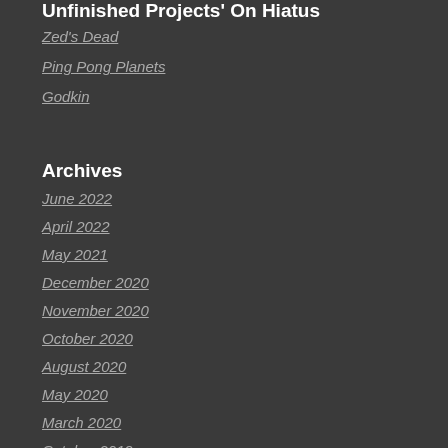Unfinished Projects' On Hiatus
Zed's Dead
Ping Pong Planets
Godkin
Archives
June 2022
April 2022
May 2021
December 2020
November 2020
October 2020
August 2020
May 2020
March 2020
October 2019
October 2018
August 2018